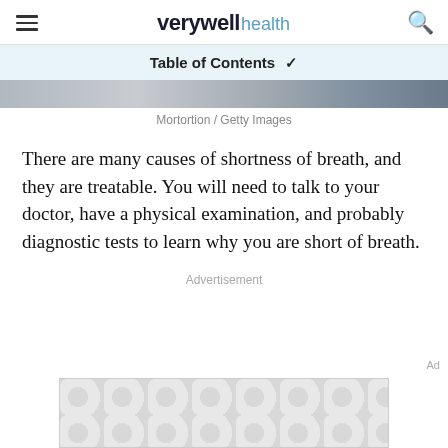verywell health
Table of Contents
[Figure (photo): Partial image strip showing a person, cropped at top]
Mortortion / Getty Images
There are many causes of shortness of breath, and they are treatable. You will need to talk to your doctor, have a physical examination, and probably diagnostic tests to learn why you are short of breath.
Advertisement
[Figure (other): Advertisement banner with dotted pattern]